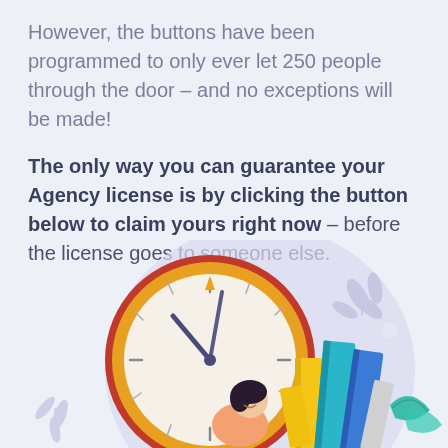However, the buttons have been programmed to only ever let 250 people through the door – and no exceptions will be made!
The only way you can guarantee your Agency license is by clicking the button below to claim yours right now – before the license goes to someone else.
[Figure (illustration): Illustration of a woman studying with a large clock behind her and a stack of colorful books (yellow, blue, teal) to the right, on a light lavender circular background with decorative leaf/plant motifs.]